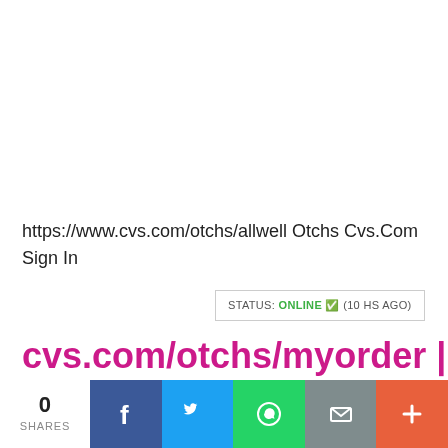https://www.cvs.com/otchs/allwell Otchs Cvs.Com Sign In
STATUS: ONLINE ✅ (10 HS AGO)
cvs.com/otchs/myorder | myorder.otchs.com | Login /
0 SHARES
[Figure (infographic): Social share bar with Facebook, Twitter, WhatsApp, Email, and Plus buttons]